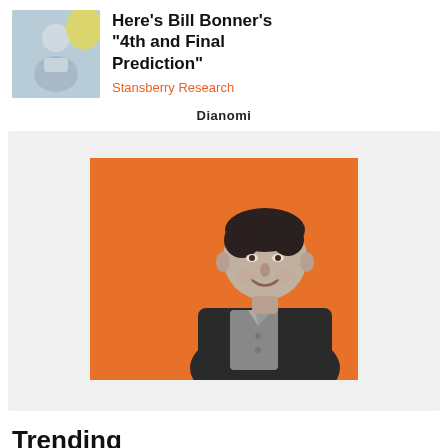[Figure (photo): Thumbnail photo of Bill Bonner, older man in blue shirt]
Here’s Bill Bonner’s “4th and Final Prediction”
Stansberry Research
Dianomi
[Figure (photo): Black and white photo of a man in a blazer smiling, on an orange background]
Trending